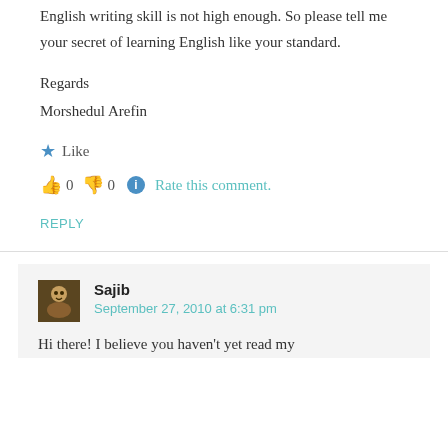English writing skill is not high enough. So please tell me your secret of learning English like your standard.
Regards
Morshedul Arefin
★ Like
👍 0 👎 0 ℹ Rate this comment.
REPLY
Sajib
September 27, 2010 at 6:31 pm
Hi there! I believe you haven't yet read my